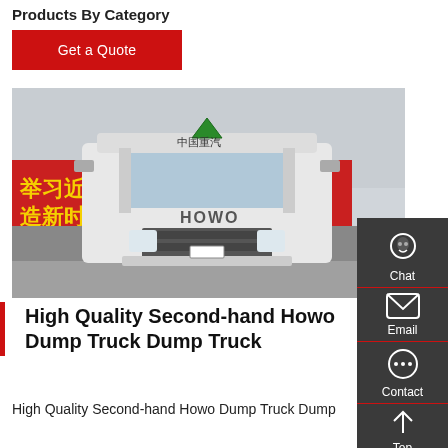Products By Category
Get a Quote
[Figure (photo): Front view of a white HOWO dump truck parked in front of a red banner with Chinese text and yellow characters.]
High Quality Second-hand Howo Dump Truck Dump Truck
High Quality Second-hand Howo Dump Truck Dump